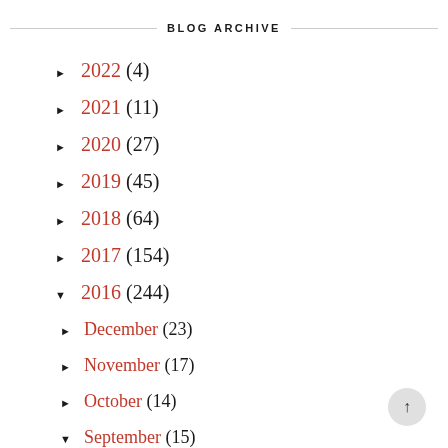BLOG ARCHIVE
2022 (4)
2021 (11)
2020 (27)
2019 (45)
2018 (64)
2017 (154)
2016 (244)
December (23)
November (17)
October (14)
September (15)
Keep a Track of Tasks: Tip for Interns